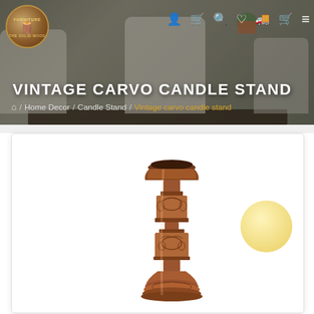Furniture - The Solid Wood (logo) | nav icons: account, cart, search, wishlist, delivery, cart, menu
VINTAGE CARVO CANDLE STAND
Home / Home Decor / Candle Stand / Vintage carvo candle stand
[Figure (photo): Vintage carved wooden candle stand with intricate floral carvings, warm brown tones, displayed against a white background with a soft yellow circle accent in the background.]